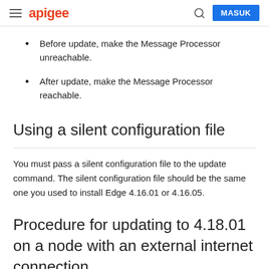apigee | MASUK
Before update, make the Message Processor unreachable.
After update, make the Message Processor reachable.
Using a silent configuration file
You must pass a silent configuration file to the update command. The silent configuration file should be the same one you used to install Edge 4.16.01 or 4.16.05.
Procedure for updating to 4.18.01 on a node with an external internet connection